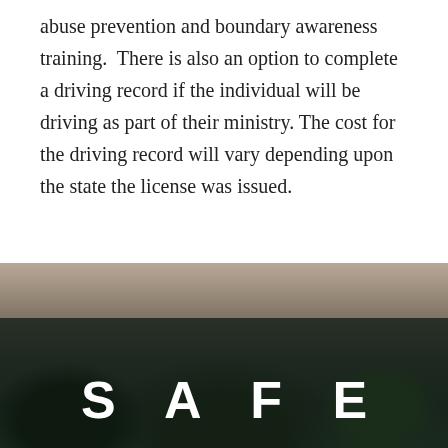abuse prevention and boundary awareness training. There is also an option to complete a driving record if the individual will be driving as part of their ministry. The cost for the driving record will vary depending upon the state the license was issued.
[Figure (photo): Outdoor nature photograph split into two bands: upper portion shows dry grass/ground in muted brown tones, lower portion shows dark green dense foliage/shrubs at night or low light. The word SAFE is displayed in large white bold spaced capital letters over the dark lower portion.]